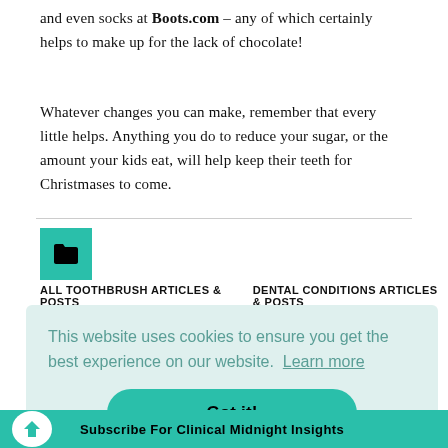and even socks at Boots.com – any of which certainly helps to make up for the lack of chocolate!
Whatever changes you can make, remember that every little helps. Anything you do to reduce your sugar, or the amount your kids eat, will help keep their teeth for Christmases to come.
ALL TOOTHBRUSH ARTICLES & POSTS    DENTAL CONDITIONS ARTICLES & POSTS
This website uses cookies to ensure you get the best experience on our website. Learn more
Got it!